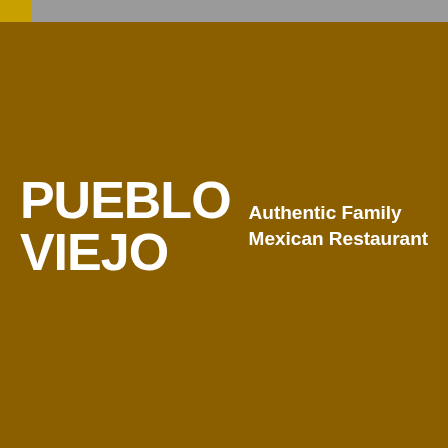[Figure (logo): Pueblo Viejo logo with large bold white text 'PUEBLO VIEJO' on the left and tagline 'Authentic Family Mexican Restaurant' on the right, on a brown/amber background with a gray top bar and gold accent in the top-left corner.]